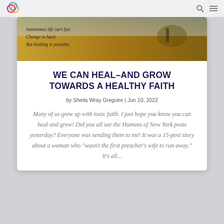[Figure (photo): Hero image of a golden field with a person in the distance. Overlaid text reads: 'Sometimes life isn't fair. Change is hard. But healing is possible.']
WE CAN HEAL–AND GROW TOWARDS A HEALTHY FAITH
by Sheila Wray Gregoire | Jun 10, 2022
Many of us grew up with toxic faith. I just hope you know you can heal and grow! Did you all see the Humans of New York posts yesterday? Everyone was sending them to me! It was a 15-post story about a woman who "wasn't the first preacher's wife to run away." It's all...